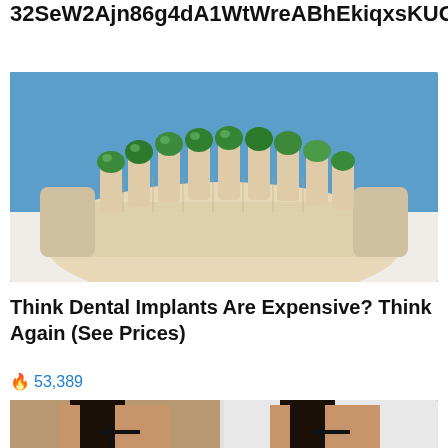32SeW2Ajn86g4dA1WtWreABhEkiqxsKUGn
[Figure (photo): A dental model showing an upper arch with green-capped teeth on a beige plaster base, placed on a white surface against a blue background.]
Think Dental Implants Are Expensive? Think Again (See Prices)
🔥 53,389
[Figure (photo): Two side-by-side photos of a woman's back showing tattoos, wearing a black bra strap, with dark hair — a before/after style comparison.]